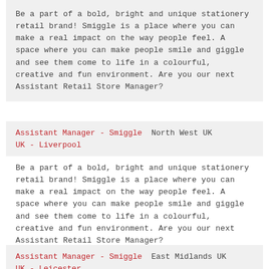Be a part of a bold, bright and unique stationery retail brand! Smiggle is a place where you can make a real impact on the way people feel. A space where you can make people smile and giggle and see them come to life in a colourful, creative and fun environment. Are you our next Assistant Retail Store Manager?
Assistant Manager - Smiggle UK - Liverpool    North West UK
Be a part of a bold, bright and unique stationery retail brand! Smiggle is a place where you can make a real impact on the way people feel. A space where you can make people smile and giggle and see them come to life in a colourful, creative and fun environment. Are you our next Assistant Retail Store Manager?
Assistant Manager - Smiggle UK - Leicester    East Midlands UK